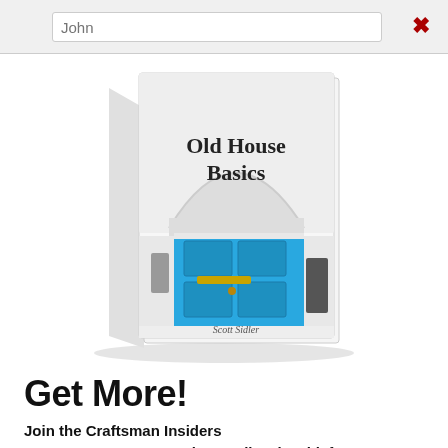[Figure (screenshot): Input field bar at top with placeholder text 'John' and a red X close button on the right]
[Figure (photo): Book cover of 'Old House Basics' by Scott Sidler, showing a white archway with a bright blue door, displayed as a 3D book perspective]
Get More!
Join the Craftsman Insiders
Founder & Editor-in-Chief
No thanks, I'm not interested.
I love old houses, working with my hands, and teaching others the excitment of doing it yourself!